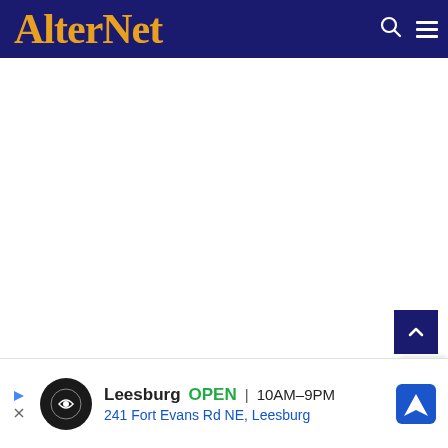AlterNet
[Figure (screenshot): White empty content area below the AlterNet navigation header]
[Figure (other): Dark navy blue scroll-to-top button with upward chevron arrow]
[Figure (other): White close (X) button panel in bottom right corner]
[Figure (other): Advertisement banner: Leesburg OPEN 10AM-9PM, 241 Fort Evans Rd NE, Leesburg with map navigation icon]